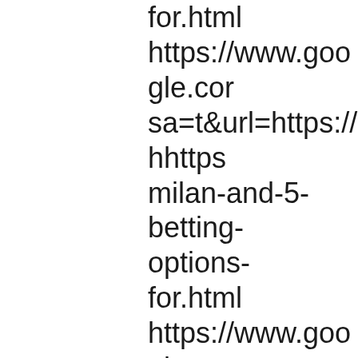for.html https://www.google.com sa=t&url=https://hhttps milan-and-5-betting-options-for.html https://www.google.com sa=t&url=https://hhttps milan-and-5-betting-options-